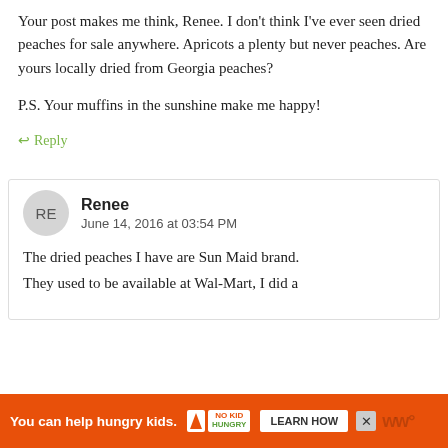Your post makes me think, Renee. I don't think I've ever seen dried peaches for sale anywhere. Apricots a plenty but never peaches. Are yours locally dried from Georgia peaches?
P.S. Your muffins in the sunshine make me happy!
↩ Reply
Renee
June 14, 2016 at 03:54 PM
The dried peaches I have are Sun Maid brand. They used to be available at Wal-Mart, I did a...
[Figure (screenshot): Orange advertisement bar: 'You can help hungry kids.' with No Kid Hungry logo and Learn How button]